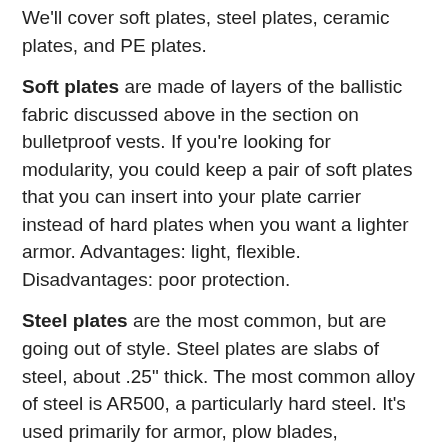We'll cover soft plates, steel plates, ceramic plates, and PE plates.
Soft plates are made of layers of the ballistic fabric discussed above in the section on bulletproof vests. If you're looking for modularity, you could keep a pair of soft plates that you can insert into your plate carrier instead of hard plates when you want a lighter armor. Advantages: light, flexible. Disadvantages: poor protection.
Steel plates are the most common, but are going out of style. Steel plates are slabs of steel, about .25" thick. The most common alloy of steel is AR500, a particularly hard steel. It's used primarily for armor, plow blades, construction and mining gear, and the like. Steel plates are easily 8 or 9 pounds apiece.